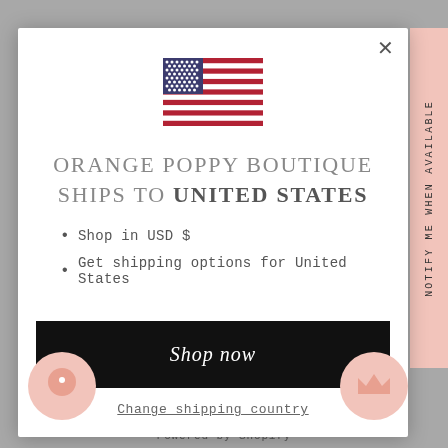[Figure (illustration): US flag emoji/icon centered at top of modal]
ORANGE POPPY BOUTIQUE SHIPS TO UNITED STATES
Shop in USD $
Get shipping options for United States
Shop now
Change shipping country
NOTIFY ME WHEN AVAILABLE
Powered by Shopify